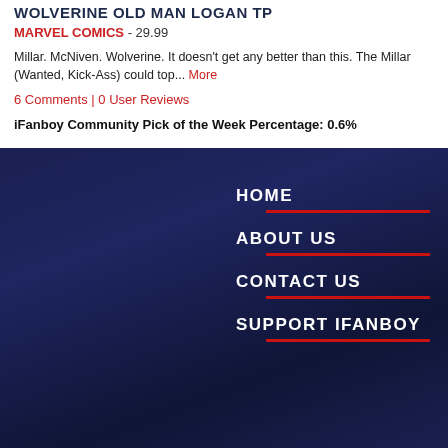WOLVERINE OLD MAN LOGAN TP
MARVEL COMICS - 29.99
Millar. McNiven. Wolverine. It doesn't get any better than this. The Millar (Wanted, Kick-Ass) could top... More
6 Comments | 0 User Reviews
iFanboy Community Pick of the Week Percentage: 0.6%
HOME
ABOUT US
CONTACT US
SUPPORT IFANBOY